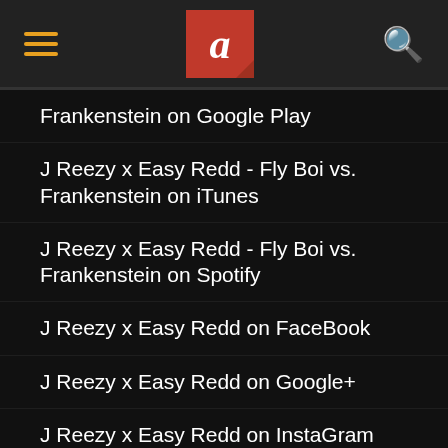[Figure (screenshot): App header with hamburger menu, logo (red box with white italic 'a'), and search icon]
Frankenstein on Google Play
J Reezy x Easy Redd - Fly Boi vs. Frankenstein on iTunes
J Reezy x Easy Redd - Fly Boi vs. Frankenstein on Spotify
J Reezy x Easy Redd on FaceBook
J Reezy x Easy Redd on Google+
J Reezy x Easy Redd on InstaGram
J Reezy x Easy Redd on Tumblr
J Reezy x Easy Redd on Twitter
J Reezy x Easy Redd on Vine